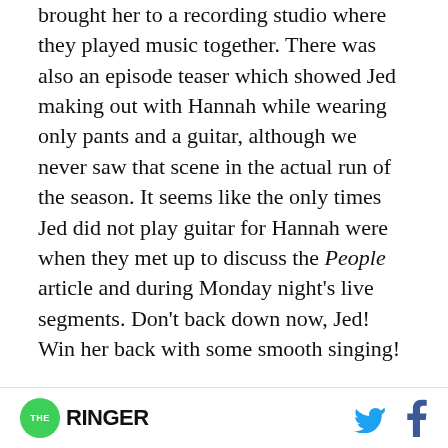brought her to a recording studio where they played music together. There was also an episode teaser which showed Jed making out with Hannah while wearing only pants and a guitar, although we never saw that scene in the actual run of the season. It seems like the only times Jed did not play guitar for Hannah were when they met up to discuss the People article and during Monday night's live segments. Don't back down now, Jed! Win her back with some smooth singing!
As Hannah seems to put together during their L.A. decoupling, Jed's guitar-playing is shady when
[Figure (logo): The Ringer logo with green circle and social media icons (Twitter bird and Facebook f)]